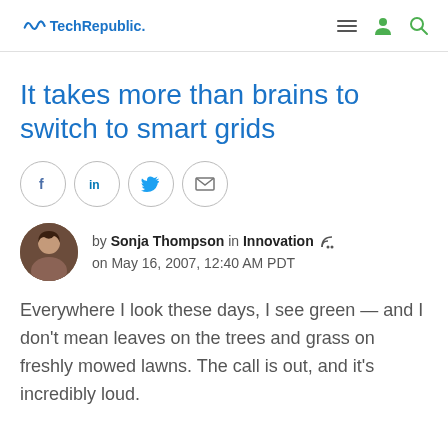TechRepublic.
It takes more than brains to switch to smart grids
[Figure (other): Social sharing buttons: Facebook (f), LinkedIn (in), Twitter bird icon, Email/envelope icon]
by Sonja Thompson in Innovation
on May 16, 2007, 12:40 AM PDT
Everywhere I look these days, I see green — and I don't mean leaves on the trees and grass on freshly mowed lawns. The call is out, and it's incredibly loud.